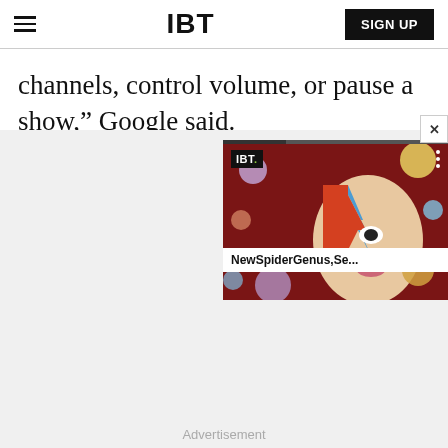IBT | SIGN UP
channels, control volume, or pause a show,” Google said.
[Figure (screenshot): IBT video thumbnail overlay showing a David Bowie-style face with colorful cosmic background, with IBT logo badge, three-dot menu, video progress bar, and title 'NewSpiderGenus,Se...']
Advertisement